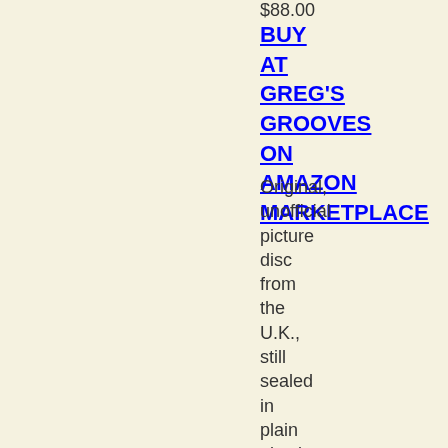$88.00
BUY AT GREG'S GROOVES ON AMAZON MARKETPLACE
Original, unofficial picture disc from the U.K., still sealed in plain plastic sleeve. Barcode # on back